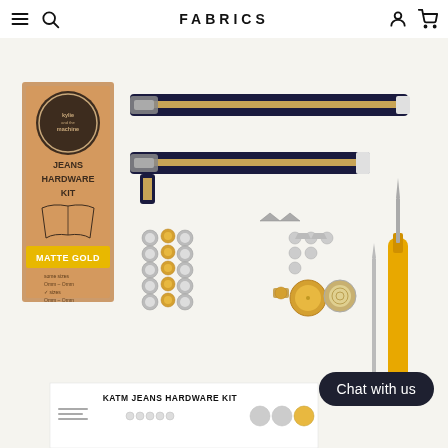FABRICS
[Figure (photo): Product photo of Kylie and the Machine Jeans Hardware Kit in Matte Gold, showing two black zippers, assorted metal buttons and rivets (silver and gold), a yellow awl tool, and packaging box. Bottom of image shows a white card labeled 'KATM JEANS HARDWARE KIT'.]
Chat with us